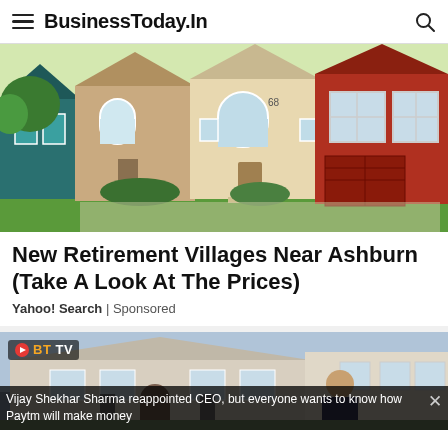BusinessToday.In
[Figure (photo): Row of colorful small houses with green lawns — retirement village photo]
New Retirement Villages Near Ashburn (Take A Look At The Prices)
Yahoo! Search | Sponsored
[Figure (screenshot): BT TV video thumbnail showing a person standing in front of a large house]
Vijay Shekhar Sharma reappointed CEO, but everyone wants to know how Paytm will make money